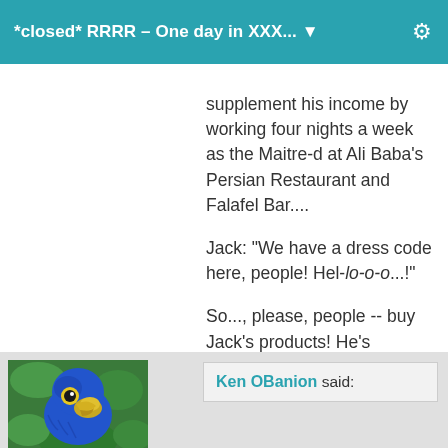*closed* RRRR – One day in XXX... ▼
supplement his income by working four nights a week as the Maitre-d at Ali Baba's Persian Restaurant and Falafel Bar....
Jack: "We have a dress code here, people! Hel-lo-o-o...!"
So..., please, people -- buy Jack's products! He's begging you!!
lol.. excellent.. nice work!
[Figure (photo): Close-up photo of a blue hyacinth macaw parrot with yellow eye ring and curved beak, against green foliage background]
Ken OBanion said: